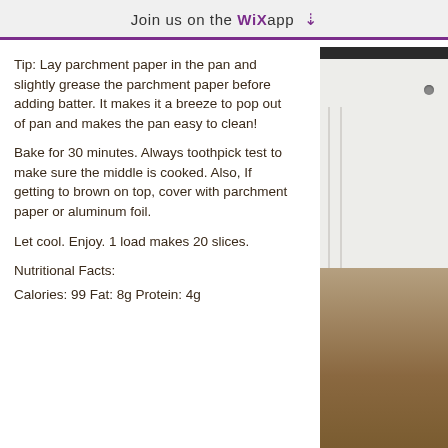Join us on the WiX app
Tip:  Lay parchment paper in the pan and slightly grease the parchment paper before adding batter.  It makes it a breeze to pop out of pan and makes the pan easy to clean!
Bake for 30 minutes.  Always toothpick test to make sure the middle is cooked.  Also, If getting to brown on top, cover with parchment paper or aluminum foil.
Let cool.  Enjoy.  1 load makes 20 slices.
Nutritional Facts:
Calories: 99  Fat: 8g  Protein: 4g
[Figure (photo): Photo of a kitchen with white cabinets and wooden floor, partially visible on the right side of the page.]